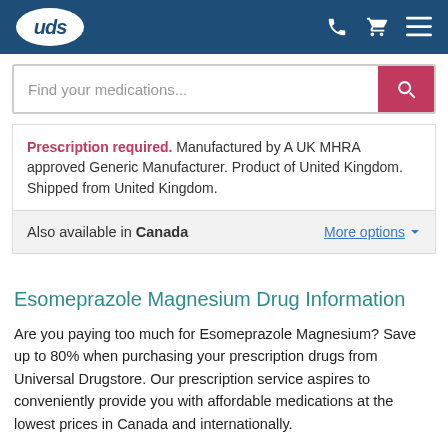[Figure (logo): UDS logo - white oval with 'uds' text on dark blue header]
Find your medications...
Prescription required. Manufactured by A UK MHRA approved Generic Manufacturer. Product of United Kingdom. Shipped from United Kingdom.
Also available in Canada   More options ▾
Esomeprazole Magnesium Drug Information
Are you paying too much for Esomeprazole Magnesium? Save up to 80% when purchasing your prescription drugs from Universal Drugstore. Our prescription service aspires to conveniently provide you with affordable medications at the lowest prices in Canada and internationally.
We're working with a number of Canadian and international